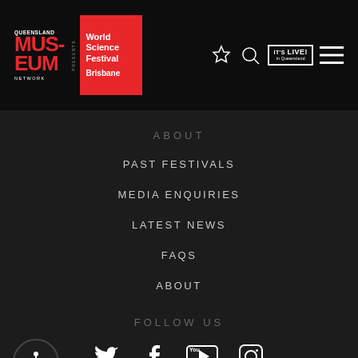[Figure (screenshot): Website header with Queensland Museum Network logo, World Science Festival Brisbane logo in red box, star and search icons, IT'S LIVE! in Queensland badge, and hamburger menu icon]
ABOUT
PAST FESTIVALS
MEDIA ENQUIRIES
LATEST NEWS
FAQS
ABOUT
FOLLOW US
[Figure (illustration): Social media icons: Twitter, Facebook, YouTube, Instagram]